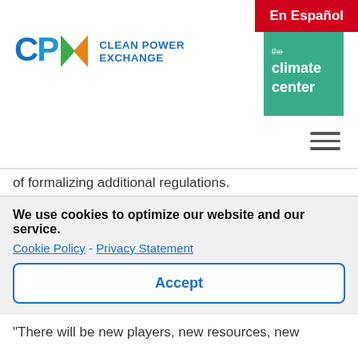[Figure (logo): CPX Clean Power Exchange logo with colored letters and The Climate Center logo in teal]
of formalizing additional regulations.
California's grid operator and its cadre of electrical engineers are concerned that runaway innovation could outstrip oversight and create precisely what the grid, even the modern grid, can't abide: imbalance.
We use cookies to optimize our website and our service.
Cookie Policy - Privacy Statement
Accept
“There will be new players, new resources, new